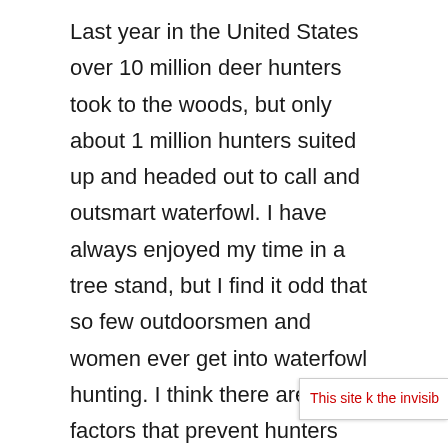Last year in the United States over 10 million deer hunters took to the woods, but only about 1 million hunters suited up and headed out to call and outsmart waterfowl. I have always enjoyed my time in a tree stand, but I find it odd that so few outdoorsmen and women ever get into waterfowl hunting. I think there are many factors that prevent hunters from getting into waterfowling, but as its own sport, and a nice break from the tree stand, it is vastly overlooked. Waterfowl hunting presents entirely different challenges and rewards not found in the deer woods. For me the draw to hunt birds is that you have to totally and completely fool them rather than just hide from them. You have to use of the tools in your trick bag: camo, calls and
This site k the invisib